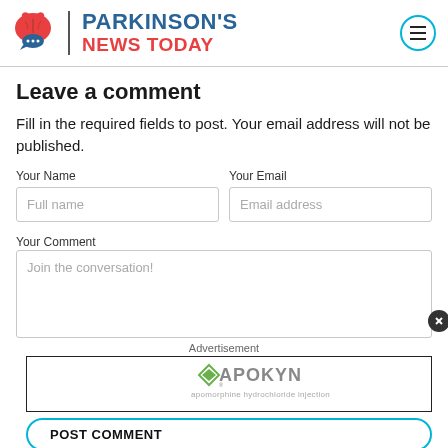[Figure (logo): Parkinson's News Today logo with brain icon and site name]
Leave a comment
Fill in the required fields to post. Your email address will not be published.
Your Name | Full name (input field)
Your Email | Email address (input field)
Your Comment | Join the conversation! (textarea)
Advertisement
[Figure (logo): APOKYN apomorphine hydrochloride injection advertisement logo]
POST COMMENT